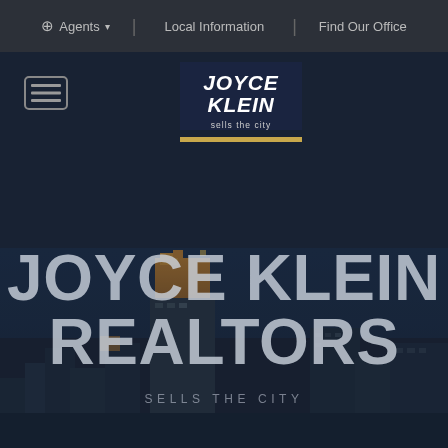⊕ Agents ▾ | Local Information | Find Our Office
[Figure (logo): Joyce Klein Realtors logo — white bold italic text on dark navy background with gold bar at bottom reading 'JOYCE KLEIN sells the city']
[Figure (photo): City skyline photo of urban buildings at dusk/night with dark blue overlay]
JOYCE KLEIN REALTORS
SELLS THE CITY